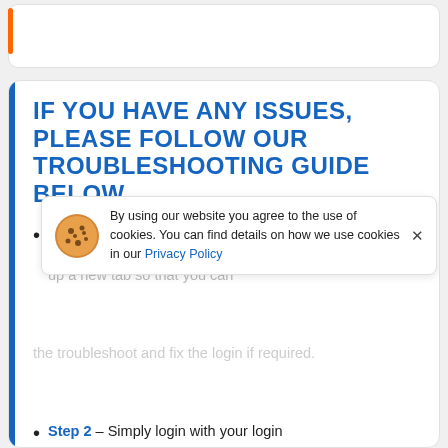IF YOU HAVE ANY ISSUES, PLEASE FOLLOW OUR TROUBLESHOOTING GUIDE BELOW
Step 1 – Go to the Fmh Staff Login official login page via our official link below. After you click on the link, it will open up a new tab so that you can troubleshoot the login page if required.
By using our website you agree to the use of cookies. You can find details on how we use cookies in our Privacy Policy
Step 2 – Simply login with your login